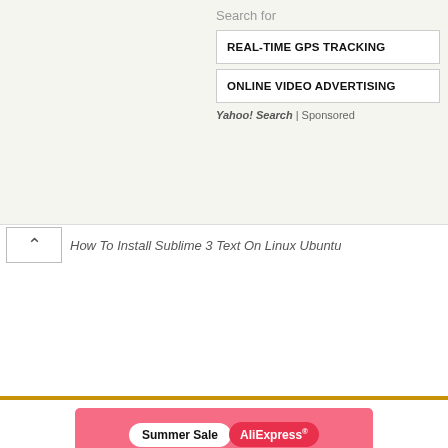Search for
REAL-TIME GPS TRACKING
ONLINE VIDEO ADVERTISING
Yahoo! Search | Sponsored
How To Install Sublime 3 Text On Linux Ubuntu
[Figure (screenshot): AliExpress Summer Sale advertisement banner with pink background, showing 'Summer Sale AliExpress', 'Official picks', and 'Shop now' button]